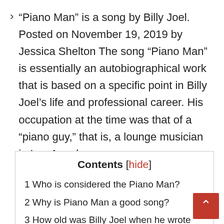“Piano Man” is a song by Billy Joel. Posted on November 19, 2019 by Jessica Shelton The song “Piano Man” is essentially an autobiographical work that is based on a specific point in Billy Joel’s life and professional career. His occupation at the time was that of a “piano guy,” that is, a lounge musician in Los Angeles.
| Contents [hide] |
| 1 Who is considered the Piano Man? |
| 2 Why is Piano Man a good song? |
| 3 How old was Billy Joel when he wrote |